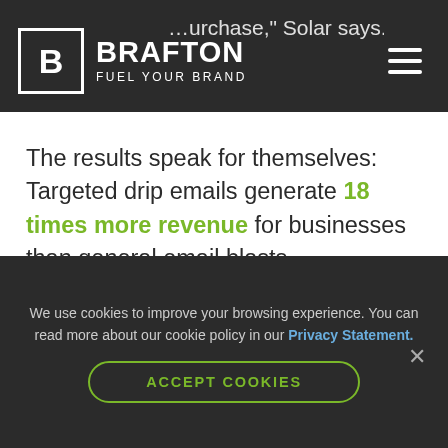BRAFTON FUEL YOUR BRAND
The results speak for themselves: Targeted drip emails generate 18 times more revenue for businesses than general email blasts.
Where does content come into
We use cookies to improve your browsing experience. You can read more about our cookie policy in our Privacy Statement.
ACCEPT COOKIES